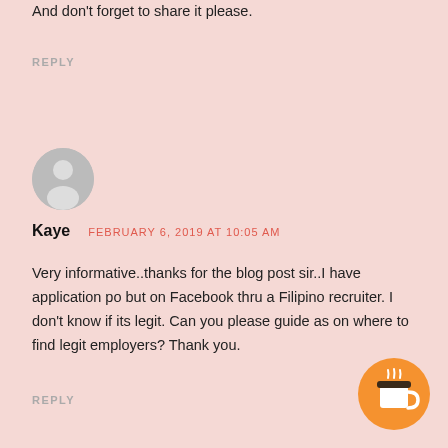And don't forget to share it please.
REPLY
[Figure (illustration): Generic user avatar circle with silhouette icon, gray background]
Kaye   FEBRUARY 6, 2019 AT 10:05 AM
Very informative..thanks for the blog post sir..I have application po but on Facebook thru a Filipino recruiter. I don't know if its legit. Can you please guide as on where to find legit employers? Thank you.
REPLY
[Figure (illustration): Orange circular Buy Me a Coffee button with coffee cup icon]